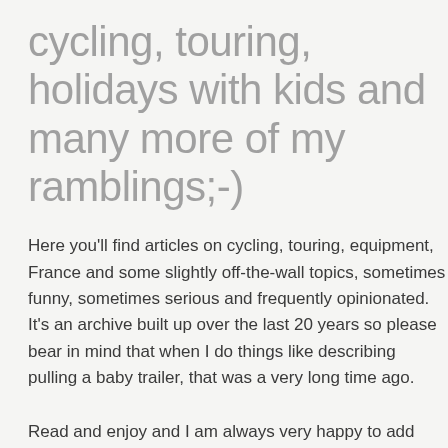cycling, touring, holidays with kids and many more of my ramblings;-)
Here you'll find articles on cycling, touring, equipment, France and some slightly off-the-wall topics, sometimes funny, sometimes serious and frequently opinionated. It's an archive built up over the last 20 years so please bear in mind that when I do things like describing pulling a baby trailer, that was a very long time ago.
Read and enjoy and I am always very happy to add contributions from others in order to make the Archive as broad and as worthwhile as possible.
CYCLING ARTICLE INDEX